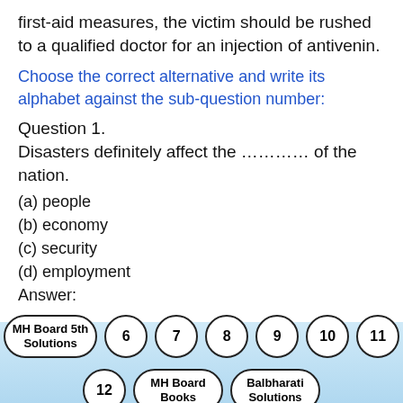first-aid measures, the victim should be rushed to a qualified doctor for an injection of antivenin.
Choose the correct alternative and write its alphabet against the sub-question number:
Question 1.
Disasters definitely affect the ........... of the nation.
(a) people
(b) economy
(c) security
(d) employment
Answer:
MH Board 5th Solutions  6  7  8  9  10  11  12  MH Board Books  Balbharati Solutions